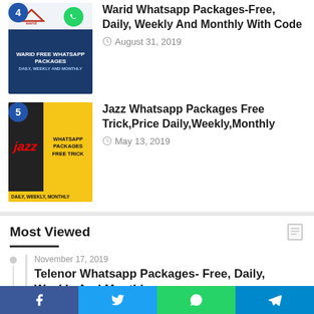[Figure (screenshot): Warid Free Whatsapp Packages thumbnail with Warid logo and WhatsApp icon]
Warid Whatsapp Packages-Free, Daily, Weekly And Monthly With Code
August 31, 2019
[Figure (screenshot): Jazz Whatsapp Packages thumbnail with Jazz logo and yellow WHATSAPP PACKAGES FREE TRICK banner]
Jazz Whatsapp Packages Free Trick,Price Daily,Weekly,Monthly
May 13, 2019
Most Viewed
November 17, 2019
Telenor Whatsapp Packages- Free, Daily, Weekly And Monthly
November 24, 2019
Ufone Whatsapp Packages,Free Trick Daily, Weekly